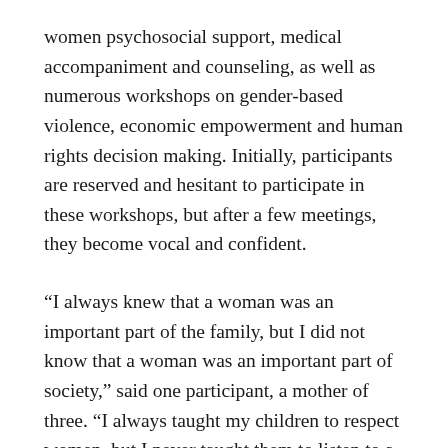women psychosocial support, medical accompaniment and counseling, as well as numerous workshops on gender-based violence, economic empowerment and human rights decision making. Initially, participants are reserved and hesitant to participate in these workshops, but after a few meetings, they become vocal and confident.
“I always knew that a woman was an important part of the family, but I did not know that a woman was an important part of society,” said one participant, a mother of three. “I always taught my children to respect women, but I never taught them to listen to a woman before. But now, I know that my voice is important and that it should be listened to and respected within society.”